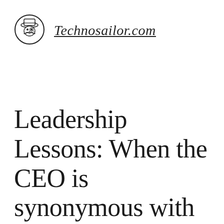[Figure (logo): Technosailor.com logo: circular illustration of a man with a mustache and sailor/pirate hat]
Technosailor.com
Leadership Lessons: When the CEO is synonymous with the brand